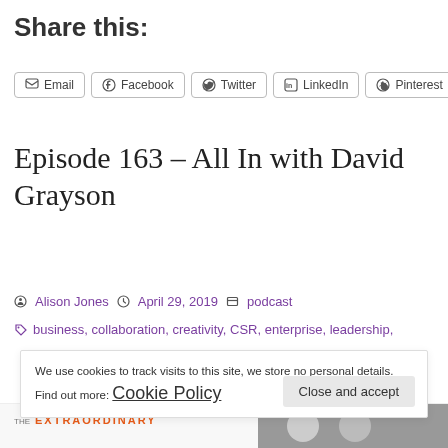Share this:
Email  Facebook  Twitter  LinkedIn  Pinterest
Episode 163 – All In with David Grayson
Alison Jones  April 29, 2019  podcast
business, collaboration, creativity, CSR, enterprise, leadership,
We use cookies to track visits to this site, we store no personal details. Find out more: Cookie Policy
Close and accept
THE EXTRAORDINARY